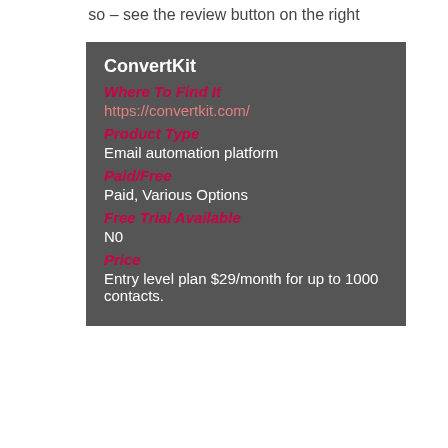so – see the review button on the right
ConvertKit
Where To Find It
https://convertkit.com/
Product Type
Email automation platform
Paid/Free
Paid, Various Options
Free Trial Available
N0
Price
Entry level plan $29/month for up to 1000 contacts.